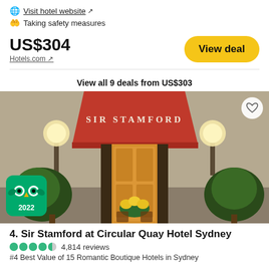Visit hotel website ↗
Taking safety measures
US$304
Hotels.com ↗
View deal
View all 9 deals from US$303
[Figure (photo): Hotel Sir Stamford entrance with red awning, two globe lights, topiary trees flanking the door, and floral arrangement visible through glass doors. Tripadvisor 2022 badge in bottom-left.]
4. Sir Stamford at Circular Quay Hotel Sydney
4,814 reviews
#4 Best Value of 15 Romantic Boutique Hotels in Sydney